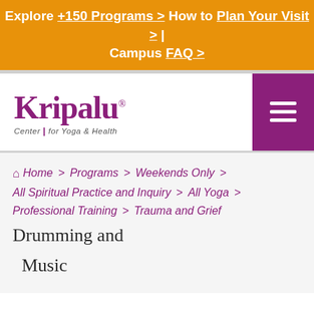Explore +150 Programs > How to Plan Your Visit > | Campus FAQ >
[Figure (logo): Kripalu Center for Yoga & Health logo with purple wordmark]
Home > Programs > Weekends Only > All Spiritual Practice and Inquiry > All Yoga > Professional Training > Trauma and Grief  Drumming and Music